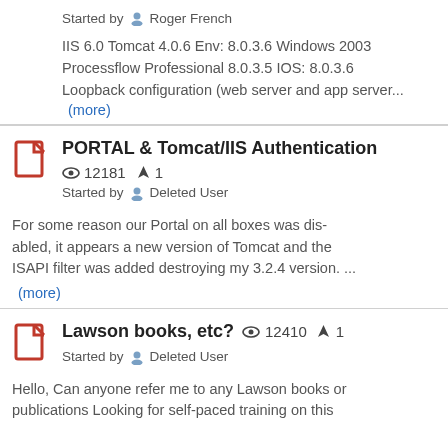Started by Roger French
IIS 6.0 Tomcat 4.0.6 Env: 8.0.3.6 Windows 2003 Processflow Professional 8.0.3.5 IOS: 8.0.3.6 Loopback configuration (web server and app server...
(more)
PORTAL & Tomcat/IIS Authentication
12181  1
Started by Deleted User
For some reason our Portal on all boxes was disabled, it appears a new version of Tomcat and the ISAPI filter was added destroying my 3.2.4 version. ...
(more)
Lawson books, etc?
12410  1
Started by Deleted User
Hello, Can anyone refer me to any Lawson books or publications Looking for self-paced training on this